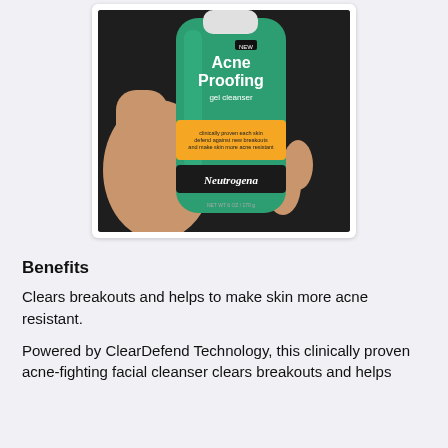[Figure (photo): A hand holding a bottle of Neutrogena Acne Proofing gel cleanser with a teal/green color and yellow label band]
Benefits
Clears breakouts and helps to make skin more acne resistant.
Powered by ClearDefend Technology, this clinically proven acne-fighting facial cleanser clears breakouts and helps